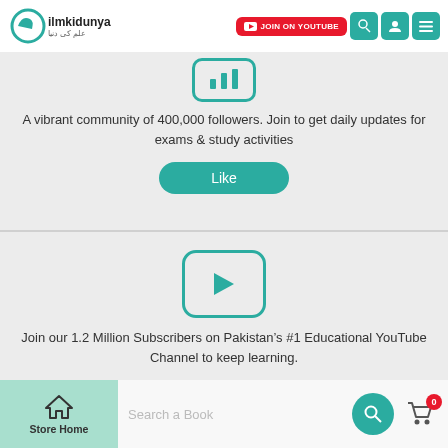ilmkidunya — JOIN ON YOUTUBE
[Figure (logo): Facebook-style icon with bars inside a rounded rectangle]
A vibrant community of 400,000 followers. Join to get daily updates for exams & study activities
Like
[Figure (logo): YouTube-style play button inside a rounded rectangle with teal border]
Join our 1.2 Million Subscribers on Pakistan's #1 Educational YouTube Channel to keep learning.
Subscribe
Store Home   Search a Book   0